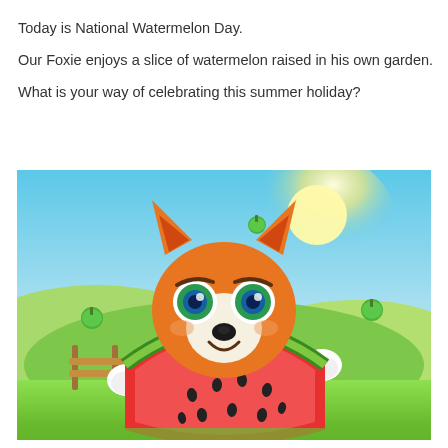Today is National Watermelon Day.

Our Foxie enjoys a slice of watermelon raised in his own garden.

What is your way of celebrating this summer holiday?
[Figure (illustration): Cartoon fox character (Foxie) holding and eating a large slice of watermelon. The fox has orange fur, big blue-green eyes, and wears blue overalls. Background shows a sunny summer countryside scene with green hills, a wooden fence, blue sky, and small green apples floating in the air.]